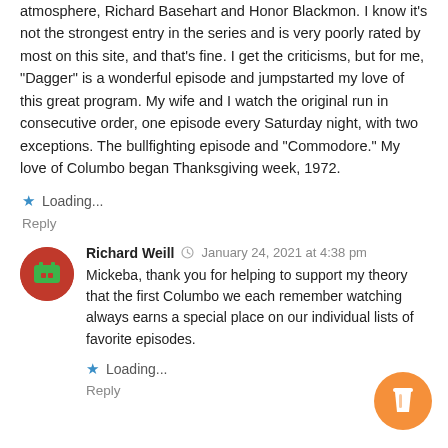atmosphere, Richard Basehart and Honor Blackmon. I know it's not the strongest entry in the series and is very poorly rated by most on this site, and that's fine. I get the criticisms, but for me, "Dagger" is a wonderful episode and jumpstarted my love of this great program. My wife and I watch the original run in consecutive order, one episode every Saturday night, with two exceptions. The bullfighting episode and "Commodore." My love of Columbo began Thanksgiving week, 1972.
Loading...
Reply
Richard Weill · January 24, 2021 at 4:38 pm
Mickeba, thank you for helping to support my theory that the first Columbo we each remember watching always earns a special place on our individual lists of favorite episodes.
Loading...
Reply
[Figure (illustration): Orange circular button with a coffee cup icon (Buy me a coffee style widget)]